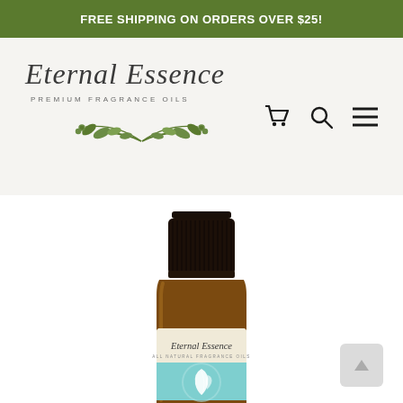FREE SHIPPING ON ORDERS OVER $25!
[Figure (logo): Eternal Essence Premium Fragrance Oils logo with cursive script text and olive branch leaf decoration]
[Figure (photo): Amber glass essential oil bottle with black cap labeled 'Eternal Essence All Natural Fragrance Oils' with a teal leaf icon on the label, partially cut off at bottom of page]